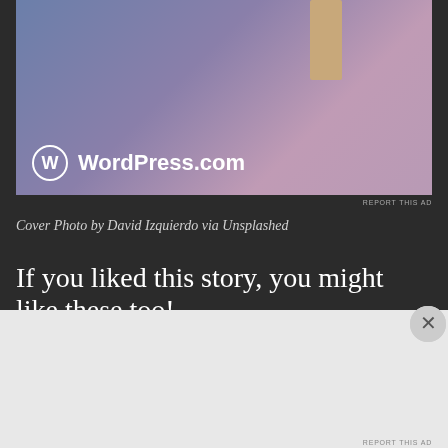[Figure (photo): WordPress.com advertisement banner with blue-purple gradient background and tan/beige rectangular shape, showing WordPress.com logo (W in circle) and text 'WordPress.com']
REPORT THIS AD
Cover Photo by David Izquierdo via Unsplashed
If you liked this story, you might like these too!
Advertisement(s)
[Figure (photo): DuckDuckGo advertisement on orange-red background showing phone with DuckDuckGo app. Text: 'Search, browse, and email with more privacy. All in One Free App' and 'DuckDuckGo.' branding]